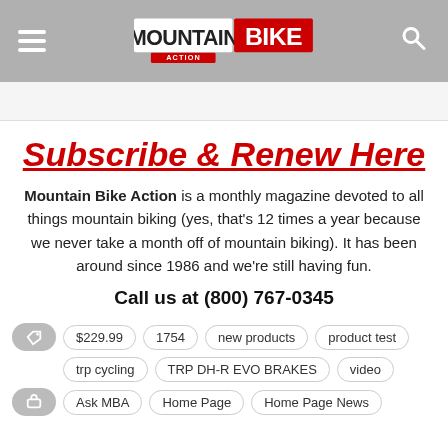Mountain Bike Action
Subscribe & Renew Here
Mountain Bike Action is a monthly magazine devoted to all things mountain biking (yes, that's 12 times a year because we never take a month off of mountain biking). It has been around since 1986 and we're still having fun.
Call us at (800) 767-0345
$229.99
1754
new products
product test
trp cycling
TRP DH-R EVO BRAKES
video
Ask MBA
Home Page
Home Page News